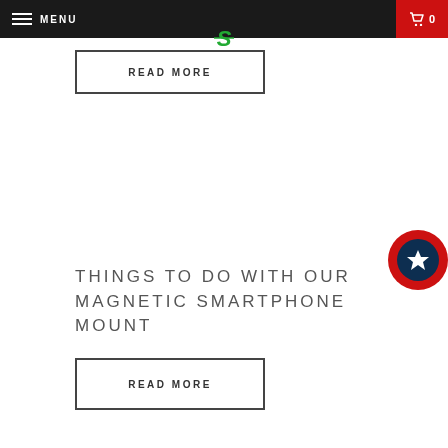MENU | S logo | 0
READ MORE
THINGS TO DO WITH OUR MAGNETIC SMARTPHONE MOUNT
READ MORE